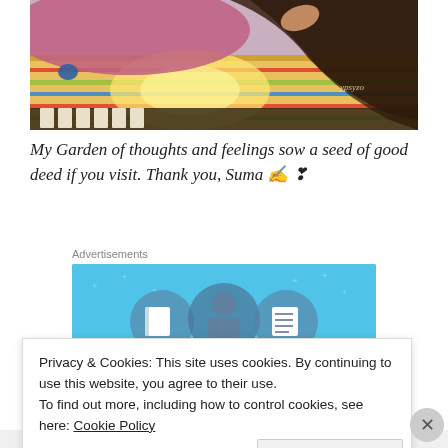[Figure (illustration): Digital artwork illustration showing a person with long dark hair lying on a colorful striped rug/blanket, viewed from above, with warm lighting effects. Signed 'ypsyzo' in the corner.]
My Garden of thoughts and feelings sow a seed of good deed if you visit. Thank you, Suma ✍️ ❣
Advertisements
[Figure (illustration): Advertisement banner with light blue background showing three circular icons: a notebook, a person with a book, and a lined document/list, representing a writing or blogging platform.]
Privacy & Cookies: This site uses cookies. By continuing to use this website, you agree to their use.
To find out more, including how to control cookies, see here: Cookie Policy
Close and accept